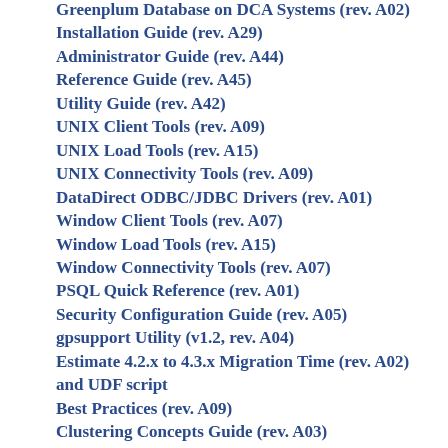Greenplum Database on DCA Systems (rev. A02)
Installation Guide (rev. A29)
Administrator Guide (rev. A44)
Reference Guide (rev. A45)
Utility Guide (rev. A42)
UNIX Client Tools (rev. A09)
UNIX Load Tools (rev. A15)
UNIX Connectivity Tools (rev. A09)
DataDirect ODBC/JDBC Drivers (rev. A01)
Window Client Tools (rev. A07)
Window Load Tools (rev. A15)
Window Connectivity Tools (rev. A07)
PSQL Quick Reference (rev. A01)
Security Configuration Guide (rev. A05)
gpsupport Utility (v1.2, rev. A04)
Estimate 4.2.x to 4.3.x Migration Time (rev. A02) and UDF script
Best Practices (rev. A09)
Clustering Concepts Guide (rev. A03)
Greenplum Database on DCA Data Sheet (rev. A03)